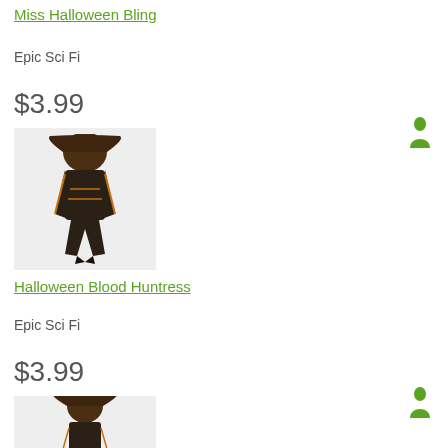Miss Halloween Bling
Epic Sci Fi
$3.99
[Figure (illustration): 3D character model wearing dark Halloween-themed armor with orange accents and wild brown hair]
[Figure (illustration): Green human silhouette icon]
Halloween Blood Huntress
Epic Sci Fi
$3.99
[Figure (illustration): Partial 3D character model in Halloween costume, bottom of page]
[Figure (illustration): Green human silhouette icon]